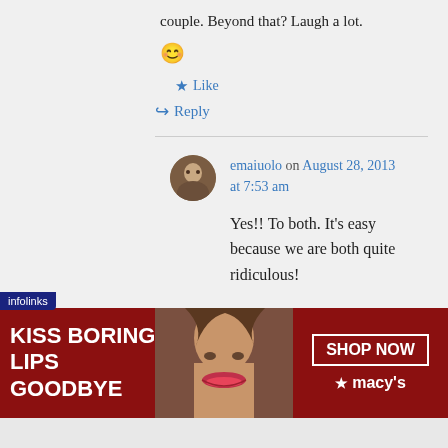couple. Beyond that? Laugh a lot. 🙂
★ Like
↪ Reply
emaiuolo on August 28, 2013 at 7:53 am
Yes!! To both. It's easy because we are both quite ridiculous!
[Figure (infographic): Infolinks advertisement banner: KISS BORING LIPS GOODBYE with a model photo and SHOP NOW / Macy's branding]